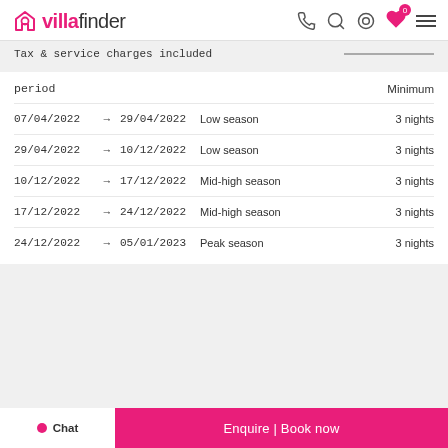villafinder
Tax & service charges included
| period |  |  |  | Minimum |
| --- | --- | --- | --- | --- |
| 07/04/2022 | → | 29/04/2022 | Low season | 3 nights |
| 29/04/2022 | → | 10/12/2022 | Low season | 3 nights |
| 10/12/2022 | → | 17/12/2022 | Mid-high season | 3 nights |
| 17/12/2022 | → | 24/12/2022 | Mid-high season | 3 nights |
| 24/12/2022 | → | 05/01/2023 | Peak season | 3 nights |
Chat   Enquire | Book now